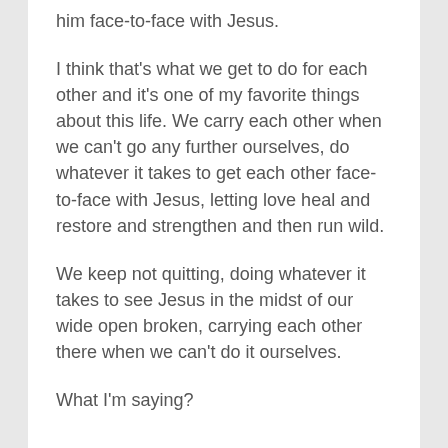him face-to-face with Jesus.
I think that's what we get to do for each other and it's one of my favorite things about this life. We carry each other when we can't go any further ourselves, do whatever it takes to get each other face-to-face with Jesus, letting love heal and restore and strengthen and then run wild.
We keep not quitting, doing whatever it takes to see Jesus in the midst of our wide open broken, carrying each other there when we can't do it ourselves.
What I'm saying?